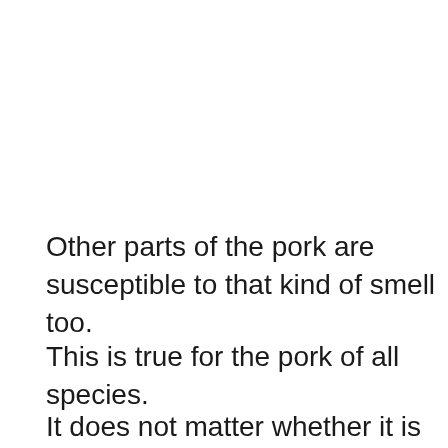Other parts of the pork are susceptible to that kind of smell too.
This is true for the pork of all species.
It does not matter whether it is male or fe—